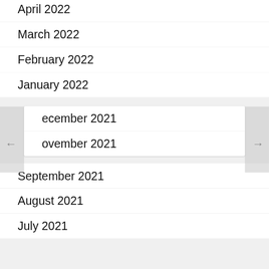April 2022
March 2022
February 2022
January 2022
December 2021
November 2021
September 2021
August 2021
July 2021